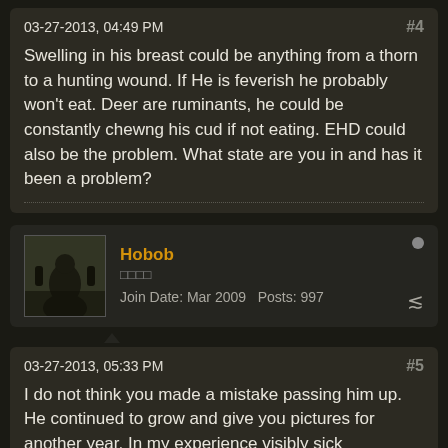03-27-2013, 04:49 PM  #4
Swelling in his breast could be anything from a thorn to a hunting wound. If He is feverish he probably won't eat. Deer are ruminants, he could be constantly chewng his cud if not eating. EHD could also be the problem. What state are you in and has it been a problem?
Hobob
Join Date: Mar 2009  Posts: 997
03-27-2013, 05:33 PM  #5
I do not think you made a mistake passing him up. He continued to grow and give you pictures for another year. In my experience visibly sick